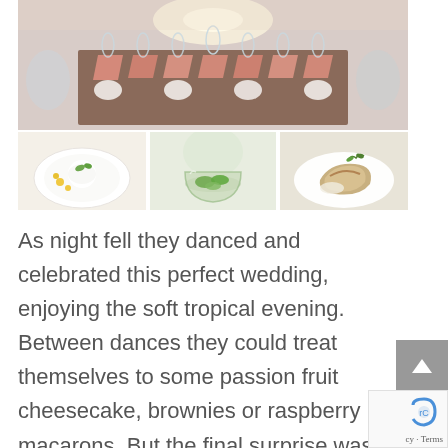[Figure (photo): Collage of three wedding reception food/table photos: top photo shows a long elegantly set dining table with pink/salmon napkins and wine glasses; bottom-left shows a gourmet dessert plate with garnishes; bottom-center shows a glass bowl with green salad; bottom-right shows a plated main course dish with garnish.]
As night fell they danced and celebrated this perfect wedding, enjoying the soft tropical evening. Between dances they could treat themselves to some passion fruit cheesecake, brownies or raspberry macarons. But the final surprise was still waiting for the bride and the groom. The professionals of DOMINICAN EXPERT had decorated the master bedroom at